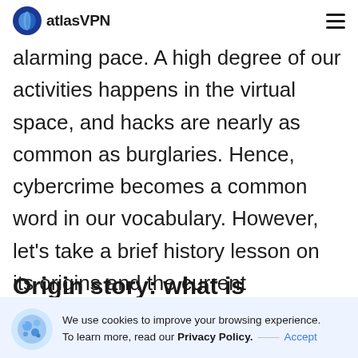atlasVPN
alarming pace. A high degree of our activities happens in the virtual space, and hacks are nearly as common as burglaries. Hence, cybercrime becomes a common word in our vocabulary. However, let's take a brief history lesson on its origins and the current landscape, threatening the digital community.
Origin story: what is cybercrime?
We use cookies to improve your browsing experience. To learn more, read our Privacy Policy. — Accept
online, usually involving computers, networks, or